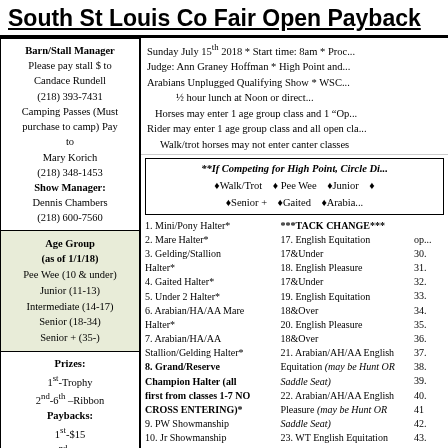South St Louis Co Fair Open Payback
Sunday July 15th 2018 * Start time: 8am * Proc... Judge: Ann Graney Hoffman * High Point and... Arabians Unplugged Qualifying Show * WSC... ½ hour lunch at Noon or direct... Horses may enter 1 age group class and 1 "Op... Rider may enter 1 age group class and all open cla... Walk/trot horses may not enter canter classes
Barn/Stall Manager Please pay stall $ to Candace Rundell (218) 393-7431 Camping Passes (Must purchase to camp) Pay to Mary Korich (218) 348-1453 Show Manager: Dennis Chambers (218) 600-7560
Age Group (as of 1/1/18)
Pee Wee (10 & under)
Junior (11-13)
Intermediate (14-17)
Senior (18-34)
Senior + (35-)
Prizes:
1st-Trophy
2nd-6th –Ribbon
Paybacks:
1st-$15
2nd-$10
3rd-$7
4th-$5
**If Competing for High Point, Circle Di...
♦Walk/Trot  ♦ Pee Wee  ♦Junior  ♦...
♦Senior +  ♦Gaited  ♦Arabia...
1. Mini/Pony Halter*
2. Mare Halter*
3. Gelding/Stallion Halter*
4. Gaited Halter*
5. Under 2 Halter*
6. Arabian/HA/AA Mare Halter*
7. Arabian/HA/AA Stallion/Gelding Halter*
8. Grand/Reserve Champion Halter (all first from classes 1-7 NO CROSS ENTERING)*
9. PW Showmanship
10. Jr Showmanship
***TACK CHANGE***
17. English Equitation 17&Under
18. English Pleasure 17&Under
19. English Equitation 18&Over
20. English Pleasure 18&Over
21. Arabian/AH/AA English Equitation (may be Hunt OR Saddle Seat)
22. Arabian/AH/AA English Pleasure (may be Hunt OR Saddle Seat)
23. WT English Equitation